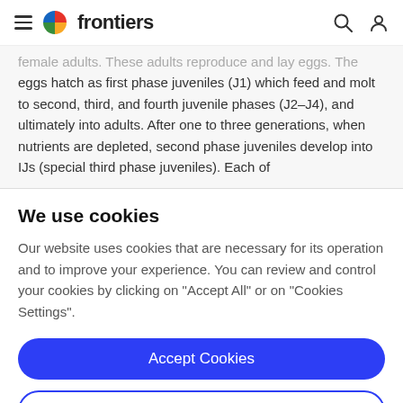frontiers
female adults. These adults reproduce and lay eggs. The eggs hatch as first phase juveniles (J1) which feed and molt to second, third, and fourth juvenile phases (J2–J4), and ultimately into adults. After one to three generations, when nutrients are depleted, second phase juveniles develop into IJs (special third phase juveniles). Each of
We use cookies
Our website uses cookies that are necessary for its operation and to improve your experience. You can review and control your cookies by clicking on "Accept All" or on "Cookies Settings".
Accept Cookies
Cookies Settings